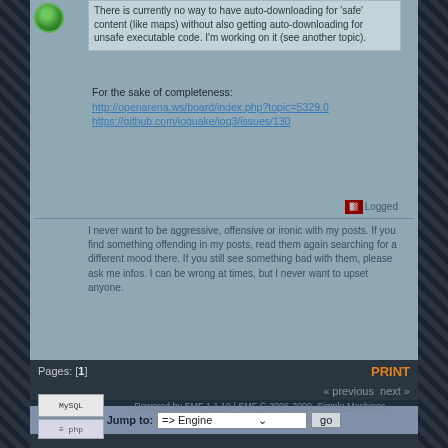There is currently no way to have auto-downloading for 'safe' content (like maps) without also getting auto-downloading for unsafe executable code. I'm working on it (see another topic).
For the sake of completeness:
http://openarena.ws/board/index.php?topic=5329.0
https://github.com/ioquake/ioq3/issues/130
Logged
I never want to be aggressive, offensive or ironic with my posts. If you find something offending in my posts, read them again searching for a different mood there. If you still see something bad with them, please ask me infos. I can be wrong at times, but I never want to upset anyone.
Pages: [1]
PRINT
« previous next »
Jump to:  => Engine   go
Powered by SMF 1.1.19 | SMF © 2006-2009, Simple Machines